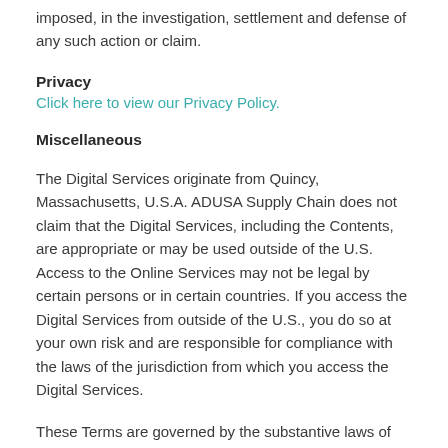imposed, in the investigation, settlement and defense of any such action or claim.
Privacy
Click here to view our Privacy Policy.
Miscellaneous
The Digital Services originate from Quincy, Massachusetts, U.S.A. ADUSA Supply Chain does not claim that the Digital Services, including the Contents, are appropriate or may be used outside of the U.S. Access to the Online Services may not be legal by certain persons or in certain countries. If you access the Digital Services from outside of the U.S., you do so at your own risk and are responsible for compliance with the laws of the jurisdiction from which you access the Digital Services.
These Terms are governed by the substantive laws of the